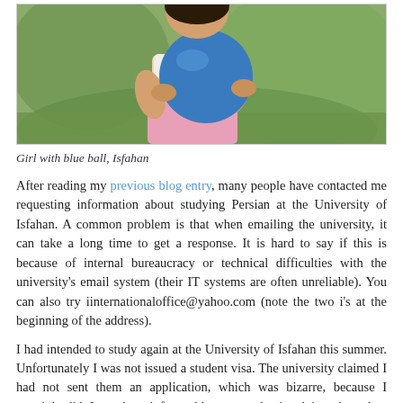[Figure (photo): A young girl holding a large blue ball, with green foliage in the background. Partial view showing torso and hands. Girl wearing a white top and pink skirt.]
Girl with blue ball, Isfahan
After reading my previous blog entry, many people have contacted me requesting information about studying Persian at the University of Isfahan. A common problem is that when emailing the university, it can take a long time to get a response. It is hard to say if this is because of internal bureaucracy or technical difficulties with the university's email system (their IT systems are often unreliable). You can also try iinternationaloffice@yahoo.com (note the two i's at the beginning of the address).
I had intended to study again at the University of Isfahan this summer. Unfortunately I was not issued a student visa. The university claimed I had not sent them an application, which was bizarre, because I certainly did. I was later informed by my academic advisor that when an visa application is